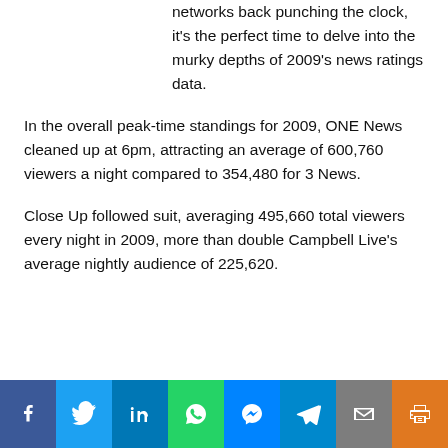networks back punching the clock, it's the perfect time to delve into the murky depths of 2009's news ratings data.
In the overall peak-time standings for 2009, ONE News cleaned up at 6pm, attracting an average of 600,760 viewers a night compared to 354,480 for 3 News.
Close Up followed suit, averaging 495,660 total viewers every night in 2009, more than double Campbell Live's average nightly audience of 225,620.
[Figure (infographic): Social sharing bar with icons for Facebook, Twitter, LinkedIn, WhatsApp, Messenger, Telegram, Email, and Print]